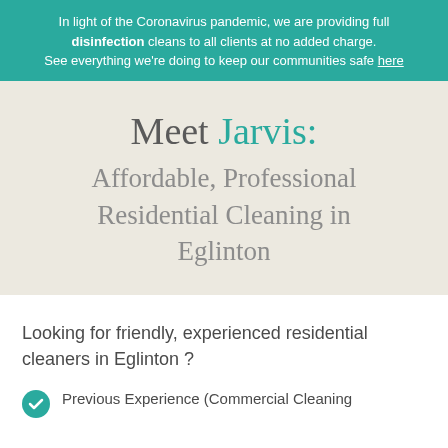In light of the Coronavirus pandemic, we are providing full disinfection cleans to all clients at no added charge. See everything we're doing to keep our communities safe here
Meet Jarvis: Affordable, Professional Residential Cleaning in Eglinton
Looking for friendly, experienced residential cleaners in Eglinton ?
Previous Experience (Commercial Cleaning